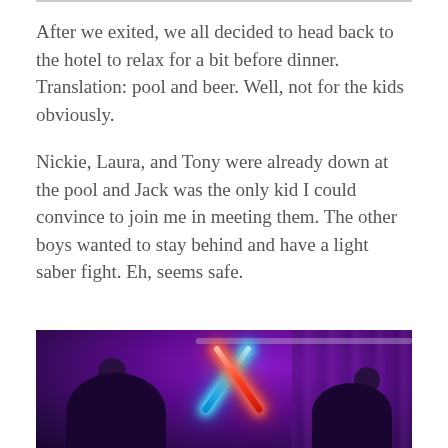After we exited, we all decided to head back to the hotel to relax for a bit before dinner. Translation: pool and beer. Well, not for the kids obviously.
Nickie, Laura, and Tony were already down at the pool and Jack was the only kid I could convince to join me in meeting them. The other boys wanted to stay behind and have a light saber fight. Eh, seems safe.
[Figure (photo): Two boys having a light saber fight in a dark hotel room lit with purple/violet lighting. One holds a blue lightsaber and the other holds a red lightsaber, crossing in an X shape. Curtains are visible in the background.]